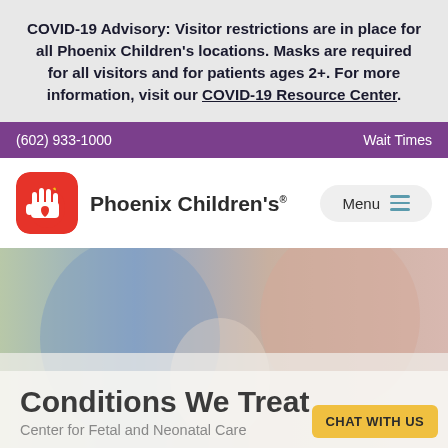COVID-19 Advisory: Visitor restrictions are in place for all Phoenix Children's locations. Masks are required for all visitors and for patients ages 2+. For more information, visit our COVID-19 Resource Center.
(602) 933-1000    Wait Times
[Figure (logo): Phoenix Children's hospital logo with red rounded-square icon showing a hand with heart, and text 'Phoenix Children's']
Conditions We Treat
Center for Fetal and Neonatal Care
CHAT WITH US